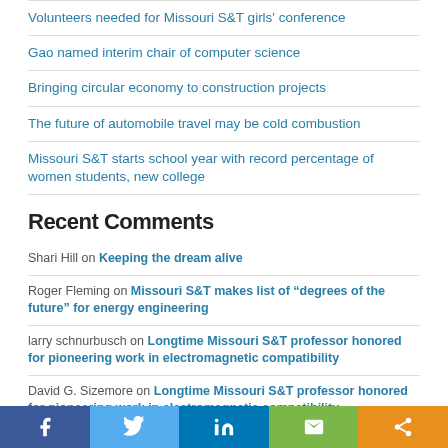Volunteers needed for Missouri S&T girls' conference
Gao named interim chair of computer science
Bringing circular economy to construction projects
The future of automobile travel may be cold combustion
Missouri S&T starts school year with record percentage of women students, new college
Recent Comments
Shari Hill on Keeping the dream alive
Roger Fleming on Missouri S&T makes list of “degrees of the future” for energy engineering
larry schnurbusch on Longtime Missouri S&T professor honored for pioneering work in electromagnetic compatibility
David G. Sizemore on Longtime Missouri S&T professor honored for pioneering work in electromagnetic compatibility
Facebook Twitter LinkedIn Email Share